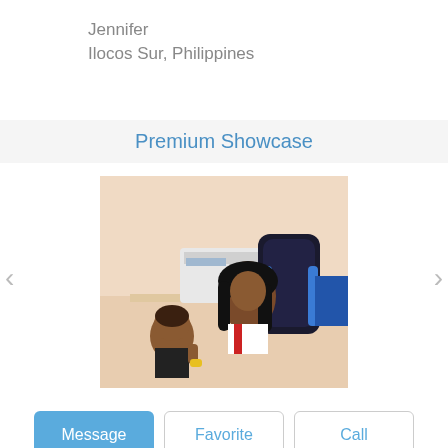Jennifer
Ilocos Sur, Philippines
Premium Showcase
[Figure (photo): A woman with long dark hair sitting in a blue gaming chair at a desk with a printer/scanner behind her; a young boy with a shaved head stands in front of her holding something, both appear to be interacting in a home office setting.]
Message | Favorite | Call